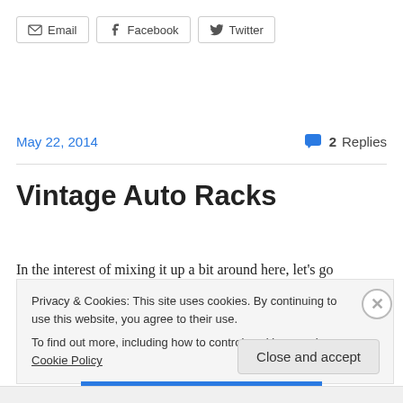[Figure (other): Share buttons row: Email, Facebook, Twitter]
May 22, 2014     💬 2 Replies
Vintage Auto Racks
In the interest of mixing it up a bit around here, let's go
Privacy & Cookies: This site uses cookies. By continuing to use this website, you agree to their use.
To find out more, including how to control cookies, see here: Cookie Policy
Close and accept